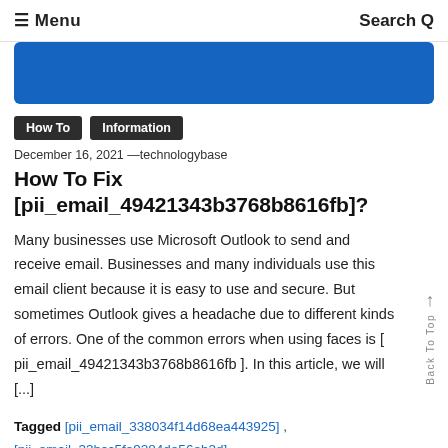≡ Menu    Search Q
[Figure (other): Blue banner image at top of article]
How To   Information
December 16, 2021 —technologybase
How To Fix [pii_email_49421343b3768b8616fb]?
Many businesses use Microsoft Outlook to send and receive email. Businesses and many individuals use this email client because it is easy to use and secure. But sometimes Outlook gives a headache due to different kinds of errors. One of the common errors when using faces is [ pii_email_49421343b3768b8616fb ]. In this article, we will [...]
Tagged [pii_email_338034f14d68ea443925] , [pii_email_33bcc5fa9284de56eb3d] , [pii_email_49421343b3768b8616fb] ,